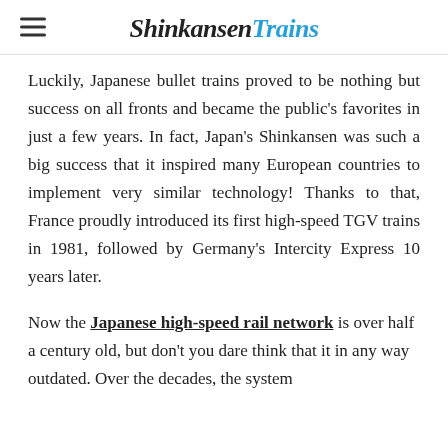ShinkansenTrains
Luckily, Japanese bullet trains proved to be nothing but success on all fronts and became the public's favorites in just a few years. In fact, Japan's Shinkansen was such a big success that it inspired many European countries to implement very similar technology! Thanks to that, France proudly introduced its first high-speed TGV trains in 1981, followed by Germany's Intercity Express 10 years later.
Now the Japanese high-speed rail network is over half a century old, but don't you dare think that it in any way outdated. Over the decades, the system